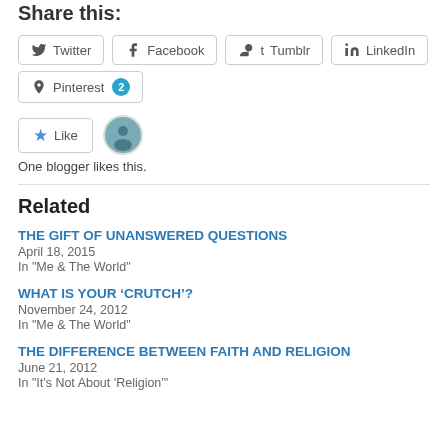Share this:
Twitter
Facebook
Tumblr
LinkedIn
Pinterest 2
One blogger likes this.
Related
THE GIFT OF UNANSWERED QUESTIONS
April 18, 2015
In "Me & The World"
WHAT IS YOUR ‘CRUTCH’?
November 24, 2012
In "Me & The World"
THE DIFFERENCE BETWEEN FAITH AND RELIGION
June 21, 2012
In "It's Not About 'Religion'"